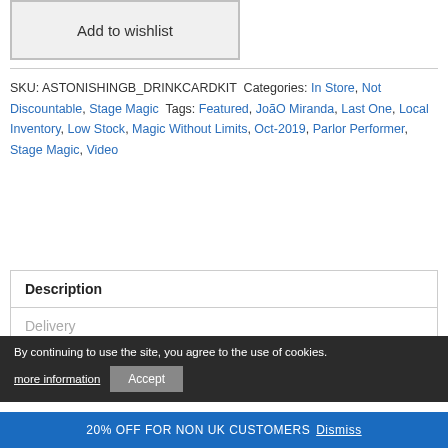Add to wishlist
SKU: ASTONISHINGB_DRINKCARDKIT Categories: In Store, Not Discountable, Stage Magic Tags: Featured, JoãO Miranda, Last One, Local Inventory, Low Stock, Magic Without Limits, Oct-2019, Parlor Performer, Stage Magic, Video
Description
Delivery
Price Promise
By continuing to use the site, you agree to the use of cookies.
more information
Accept
20% OFF FOR NON UK CUSTOMERS Dismiss